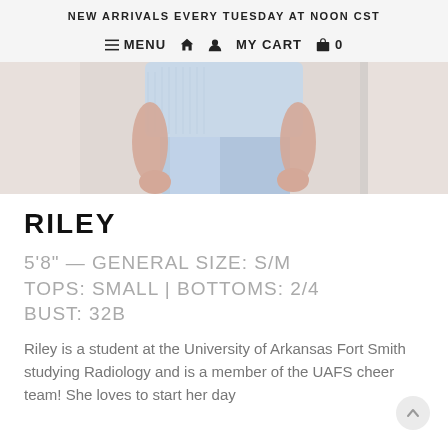NEW ARRIVALS EVERY TUESDAY AT NOON CST
≡ MENU  🏠  👤  MY CART  🛍  0
[Figure (photo): Cropped photo of a model wearing a light blue textured top and light wash jeans, showing midsection and hands.]
RILEY
5'8" — GENERAL SIZE: S/M
TOPS: SMALL | BOTTOMS: 2/4
BUST: 32B
Riley is a student at the University of Arkansas Fort Smith studying Radiology and is a member of the UAFS cheer team! She loves to start her day with...